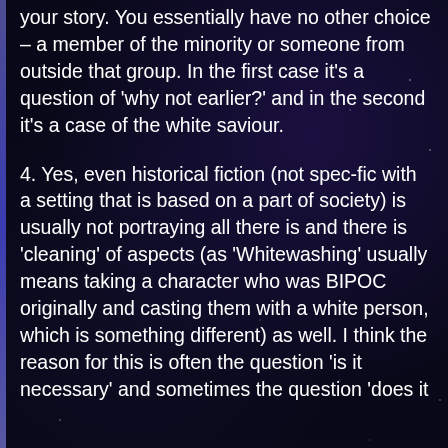your story. You essentially have no other choice – a member of the minority or someone from outside that group. In the first case it's a question of 'why not earlier?' and in the second it's a case of the white saviour.
4. Yes, even historical fiction (not spec-fic with a setting that is based on a part of society) is usually not portraying all there is and there is 'cleaning' of aspects (as 'Whitewashing' usually means taking a character who was BIPOC originally and casting them with a white person, which is something different) as well. I think the reason for this is often the question 'is it necessary' and sometimes the question 'does it